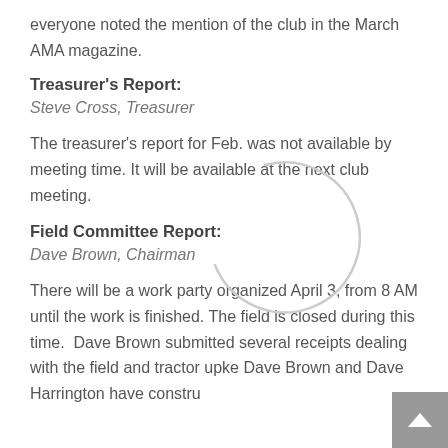everyone noted the mention of the club in the March AMA magazine.
Treasurer's Report:
Steve Cross, Treasurer
The treasurer's report for Feb. was not available by meeting time. It will be available at the next club meeting.
Field Committee Report:
Dave Brown, Chairman
There will be a work party organized April 3, from 8 AM until the work is finished. The field is closed during this time.  Dave Brown submitted several receipts dealing with the field and tractor upke Dave Brown and Dave Harrington have constru